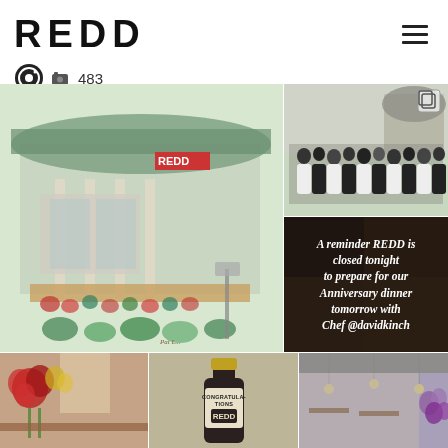REDD
📷 483
[Figure (photo): Watercolor painting of the REDD restaurant exterior with flowers and signage]
[Figure (photo): Group photo of REDD restaurant staff outdoors]
[Figure (photo): Dark card with italic text: A reminder REDD is closed tonight to prepare for our Anniversary dinner tomorrow with Chef @davidkinch]
[Figure (photo): Interior restaurant photo with red flowers]
[Figure (photo): Congratulations bottle labeled REDD]
[Figure (photo): Restaurant interior with hanging lights and purple flowers]